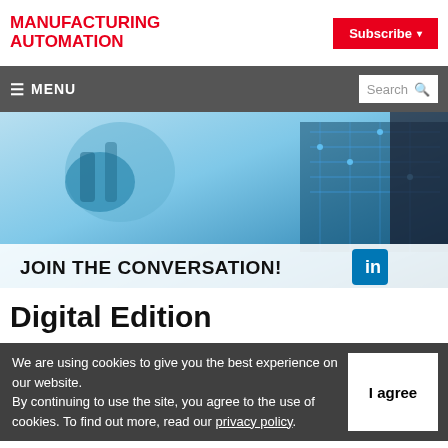MANUFACTURING AUTOMATION
Subscribe
≡ MENU | Search
[Figure (photo): Blue-toned industrial/electronics background with robotic components and circuit boards, with 'JOIN THE CONVERSATION!' text and LinkedIn logo at the bottom]
Digital Edition
We are using cookies to give you the best experience on our website. By continuing to use the site, you agree to the use of cookies. To find out more, read our privacy policy.
I agree